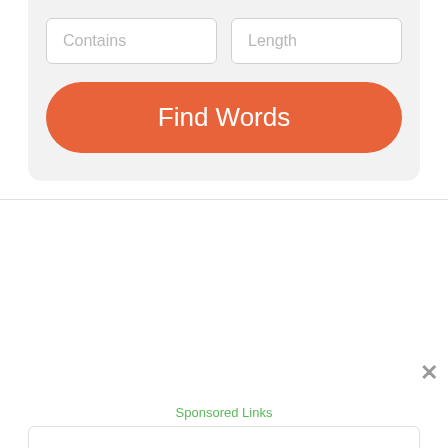[Figure (screenshot): Web app UI showing two input fields labeled 'Contains' and 'Length' above an orange rounded 'Find Words' button, set on a light gray panel background]
Sponsored Links
[Figure (screenshot): Advertisement banner showing U.S. Department of State - Renew your Passport with a blue LEARN MORE button and a close X icon, along with ad attribution icons]